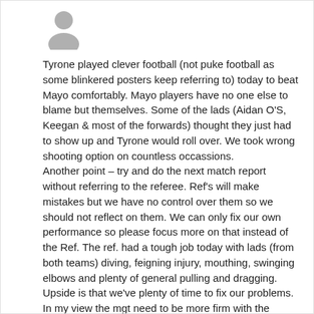[Figure (illustration): Grey silhouette avatar icon of a person]
Tyrone played clever football (not puke football as some blinkered posters keep referring to) today to beat Mayo comfortably. Mayo players have no one else to blame but themselves. Some of the lads (Aidan O'S, Keegan & most of the forwards) thought they just had to show up and Tyrone would roll over. We took wrong shooting option on countless occassions.
Another point – try and do the next match report without referring to the referee. Ref's will make mistakes but we have no control over them so we should not reflect on them. We can only fix our own performance so please focus more on that instead of the Ref. The ref. had a tough job today with lads (from both teams) diving, feigning injury, mouthing, swinging elbows and plenty of general pulling and dragging. Upside is that we've plenty of time to fix our problems. In my view the mgt need to be more firm with the players in order to get the most out of them. Some of the lads are taking their place on the team for granted from what I can see.